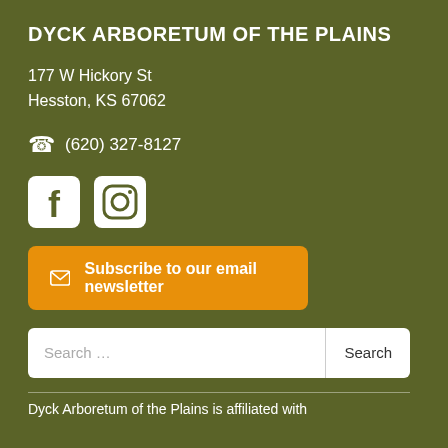DYCK ARBORETUM OF THE PLAINS
177 W Hickory St
Hesston, KS 67062
(620) 327-8127
[Figure (logo): Facebook and Instagram social media icons (white on rounded square backgrounds)]
Subscribe to our email newsletter
Search ...
Dyck Arboretum of the Plains is affiliated with